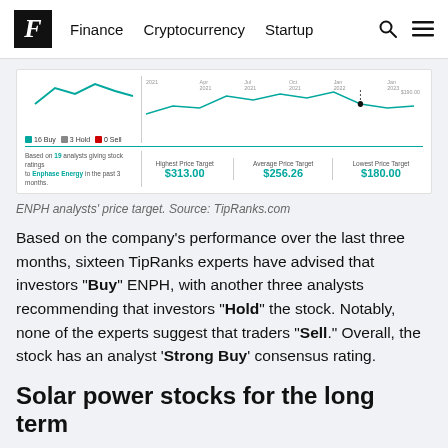F Finance Cryptocurrency Startup
[Figure (screenshot): ENPH analyst price target chart from TipRanks showing line chart with 16 Buy, 3 Hold, 0 Sell ratings. Highest Price Target $313.00, Average Price Target $256.26, Lowest Price Target $180.00]
ENPH analysts' price target. Source: TipRanks.com
Based on the company's performance over the last three months, sixteen TipRanks experts have advised that investors "Buy" ENPH, with another three analysts recommending that investors "Hold" the stock. Notably, none of the experts suggest that traders "Sell." Overall, the stock has an analyst 'Strong Buy' consensus rating.
Solar power stocks for the long term